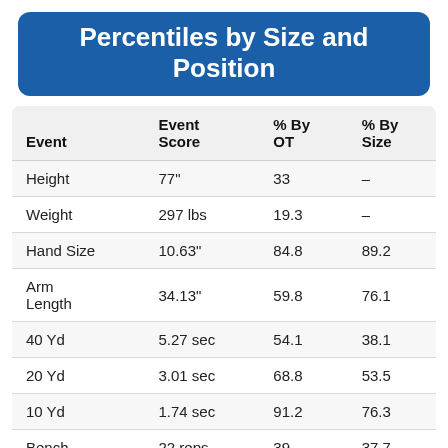Percentiles by Size and Position
| Event | Event Score | % By OT | % By Size |
| --- | --- | --- | --- |
| Height | 77" | 33 | – |
| Weight | 297 lbs | 19.3 | – |
| Hand Size | 10.63" | 84.8 | 89.2 |
| Arm Length | 34.13" | 59.8 | 76.1 |
| 40 Yd | 5.27 sec | 54.1 | 38.1 |
| 20 Yd | 3.01 sec | 68.8 | 53.5 |
| 10 Yd | 1.74 sec | 91.2 | 76.3 |
| Bench | 22 reps | 39 | 37.7 |
| Vertical | 19.5" | 0.3 | 0.9 |
| Broad |  |  |  |